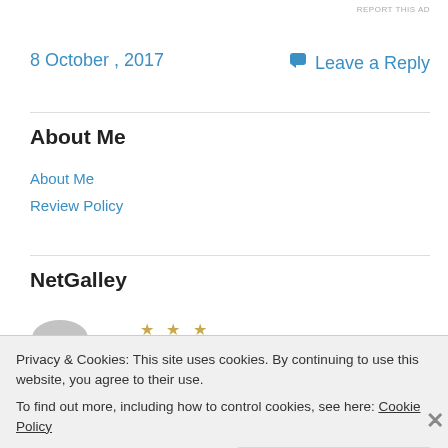REPORT THIS AD
8 October , 2017
Leave a Reply
About Me
About Me
Review Policy
NetGalley
[Figure (logo): NetGalley circular logo badge]
[Figure (other): Three gold stars rating]
Privacy & Cookies: This site uses cookies. By continuing to use this website, you agree to their use.
To find out more, including how to control cookies, see here: Cookie Policy
Close and accept